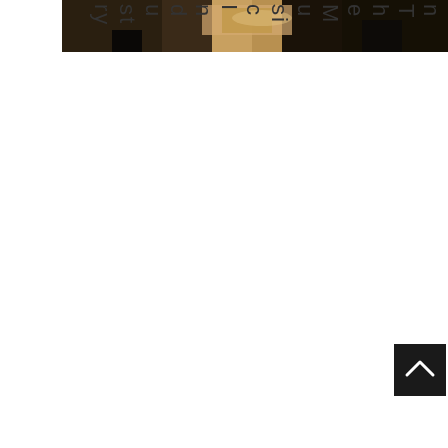[Figure (photo): Dark photograph showing what appears to be a table or desk with chairs, in a dimly lit room or venue, cropped to a horizontal strip at the top of the page.]
nTheMusicIndustry
[Figure (other): Dark square button with a white upward-pointing chevron arrow, functioning as a back-to-top navigation element.]